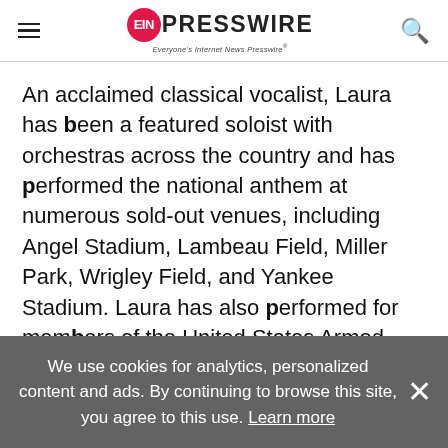EIN PRESSWIRE — Everyone's Internet News Presswire
An acclaimed classical vocalist, Laura has been a featured soloist with orchestras across the country and has performed the national anthem at numerous sold-out venues, including Angel Stadium, Lambeau Field, Miller Park, Wrigley Field, and Yankee Stadium. Laura has also performed for members of the United States Armed Forces and their families with the USO. Laura is passionate about advocating for children of incarcerated
We use cookies for analytics, personalized content and ads. By continuing to browse this site, you agree to this use. Learn more